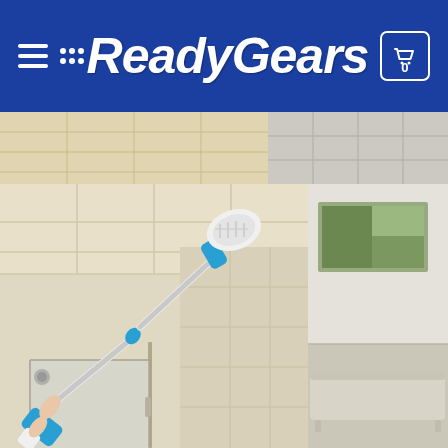ReadyGears — navigation header with hamburger menu and cart icon (0 items)
[Figure (photo): E-commerce product page for ReadyGears showing a power scrubber brush on an extendable pole being used to clean bathroom tiles and shower area. The main image shows a person holding the long-handled electric spinning scrubber reaching up to clean shower/ceiling tiles. A smaller image strip at top shows tile surfaces, and a partial right panel shows an interior room.]